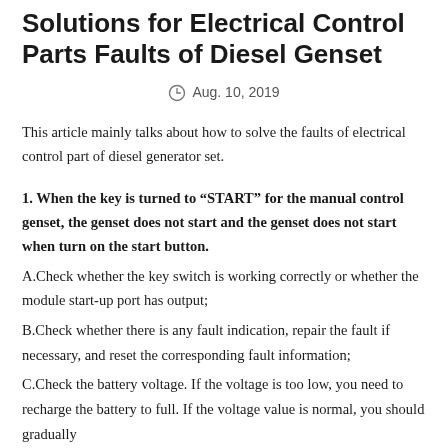Solutions for Electrical Control Parts Faults of Diesel Genset
Aug. 10, 2019
This article mainly talks about how to solve the faults of electrical control part of diesel generator set.
1. When the key is turned to “START” for the manual control genset, the genset does not start and the genset does not start when turn on the start button.
A.Check whether the key switch is working correctly or whether the module start-up port has output;
B.Check whether there is any fault indication, repair the fault if necessary, and reset the corresponding fault information;
C.Check the battery voltage. If the voltage is too low, you need to recharge the battery to full. If the voltage value is normal, you should gradually